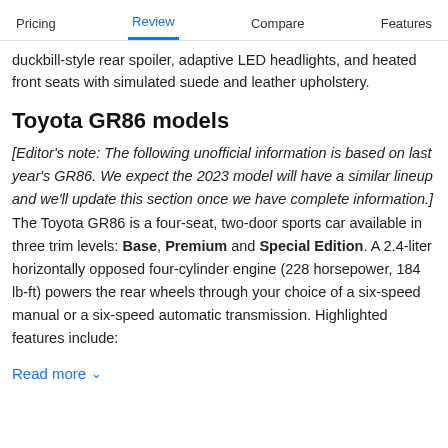Pricing | Review | Compare | Features
duckbill-style rear spoiler, adaptive LED headlights, and heated front seats with simulated suede and leather upholstery.
Toyota GR86 models
[Editor's note: The following unofficial information is based on last year's GR86. We expect the 2023 model will have a similar lineup and we'll update this section once we have complete information.] The Toyota GR86 is a four-seat, two-door sports car available in three trim levels: Base, Premium and Special Edition. A 2.4-liter horizontally opposed four-cylinder engine (228 horsepower, 184 lb-ft) powers the rear wheels through your choice of a six-speed manual or a six-speed automatic transmission. Highlighted features include:
Read more